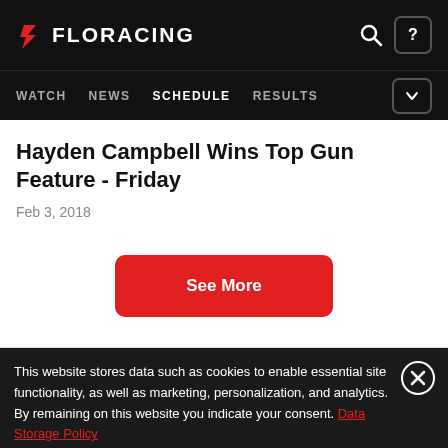FLORACING — WATCH  NEWS  SCHEDULE  RESULTS
Hayden Campbell Wins Top Gun Feature - Friday
Feb 3, 2018
See More
This website stores data such as cookies to enable essential site functionality, as well as marketing, personalization, and analytics. By remaining on this website you indicate your consent. Data Storage Policy